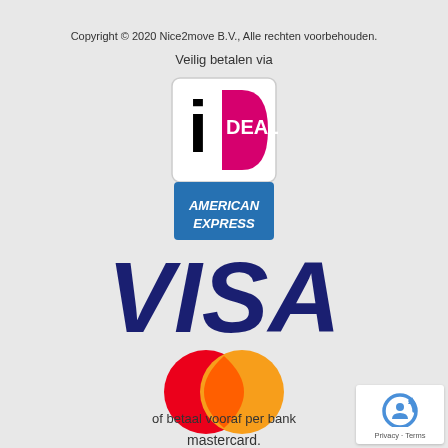Copyright © 2020 Nice2move B.V., Alle rechten voorbehouden.
Veilig betalen via
[Figure (logo): iDEAL payment logo — square with rounded corners, white background, black letter i with dot (stylized), magenta/pink D shape, text DEAL in magenta]
[Figure (logo): American Express logo — blue square, text AMERICAN EXPRESS in white italic]
[Figure (logo): VISA logo — large bold navy blue italic text VISA]
[Figure (logo): Mastercard logo — two overlapping circles (red left, orange/yellow right), text mastercard. below]
of betaal vooraf per bank